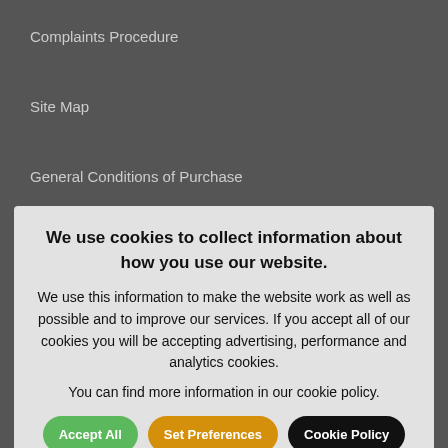Complaints Procedure
Site Map
General Conditions of Purchase
SAFEGUARDING
We use cookies to collect information about how you use our website.

We use this information to make the website work as well as possible and to improve our services. If you accept all of our cookies you will be accepting advertising, performance and analytics cookies.

You can find more information in our cookie policy.
SOCIAL MEDIA
Keep in Touch...